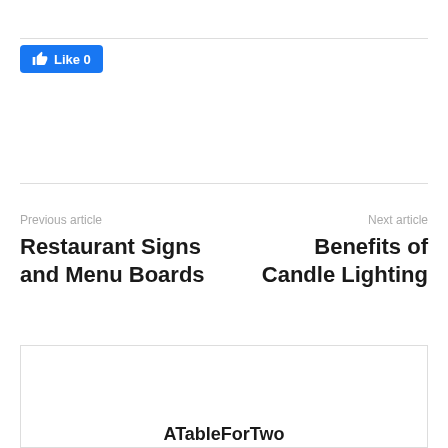[Figure (other): Facebook Like button showing thumbs up icon and count of 0]
Previous article
Next article
Restaurant Signs and Menu Boards
Benefits of Candle Lighting
[Figure (other): A rectangular box with a partially visible title 'ATableForTwo' at the bottom]